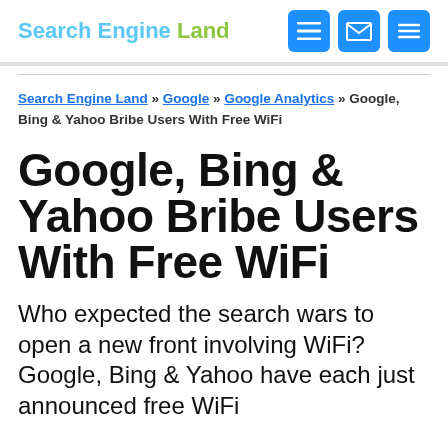Search Engine Land
Search Engine Land » Google » Google Analytics » Google, Bing & Yahoo Bribe Users With Free WiFi
Google, Bing & Yahoo Bribe Users With Free WiFi
Who expected the search wars to open a new front involving WiFi? Google, Bing & Yahoo have each just announced free WiFi